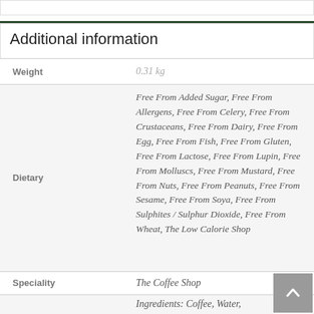Additional information
|  |  |
| --- | --- |
| Weight | 0.31 kg |
| Dietary | Free From Added Sugar, Free From Allergens, Free From Celery, Free From Crustaceans, Free From Dairy, Free From Egg, Free From Fish, Free From Gluten, Free From Lactose, Free From Lupin, Free From Molluscs, Free From Mustard, Free From Nuts, Free From Peanuts, Free From Sesame, Free From Soya, Free From Sulphites / Sulphur Dioxide, Free From Wheat, The Low Calorie Shop |
| Speciality | The Coffee Shop |
|  | Ingredients: Coffee, Water, |